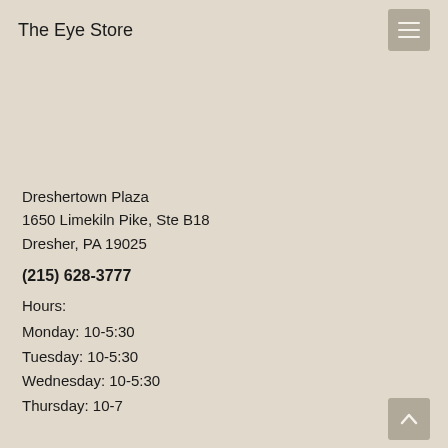The Eye Store
Dreshertown Plaza
1650 Limekiln Pike, Ste B18
Dresher, PA 19025
(215) 628-3777
Hours:
Monday: 10-5:30
Tuesday: 10-5:30
Wednesday: 10-5:30
Thursday: 10-7